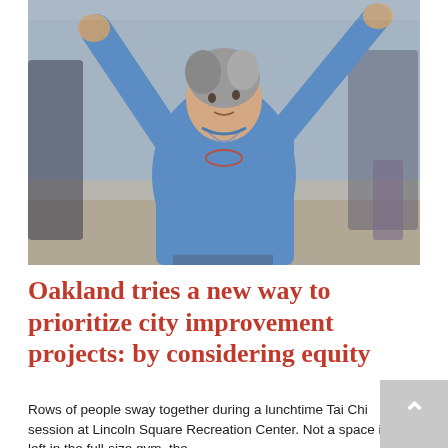[Figure (photo): An elderly woman in a blue polo shirt with arms raised performs Tai Chi in what appears to be a recreation center gym, with other participants visible in the background.]
Oakland tries a new way to prioritize city improvement projects: by considering equity
Rows of people sway together during a lunchtime Tai Chi session at Lincoln Square Recreation Center. Not a space is left in the full-size gym, the